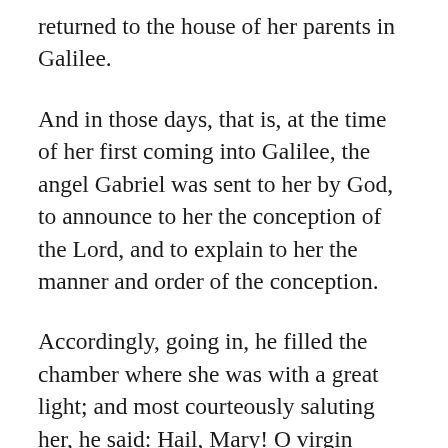returned to the house of her parents in Galilee.
And in those days, that is, at the time of her first coming into Galilee, the angel Gabriel was sent to her by God, to announce to her the conception of the Lord, and to explain to her the manner and order of the conception.
Accordingly, going in, he filled the chamber where she was with a great light; and most courteously saluting her, he said: Hail, Mary! O virgin highly favored by the Lord, virgin full of grace,